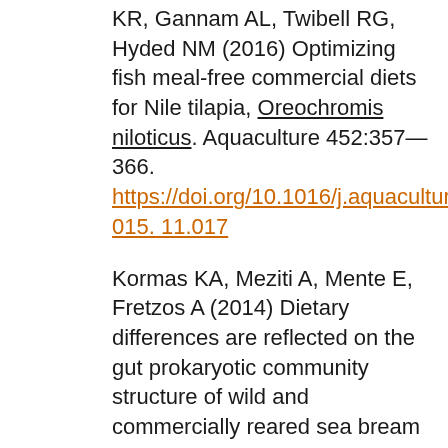KR, Gannam AL, Twibell RG, Hyded NM (2016) Optimizing fish meal-free commercial diets for Nile tilapia, Oreochromis niloticus. Aquaculture 452:357—366. https://doi.org/10.1016/j.aquaculture.2015. 11.017
Kormas KA, Meziti A, Mente E, Fretzos A (2014) Dietary differences are reflected on the gut prokaryotic community structure of wild and commercially reared sea bream (Sparus aurata). Microbiology open. https://doi.org/10.1002/mbo3.202
Kobayashi M, Msangi S, Batka M,